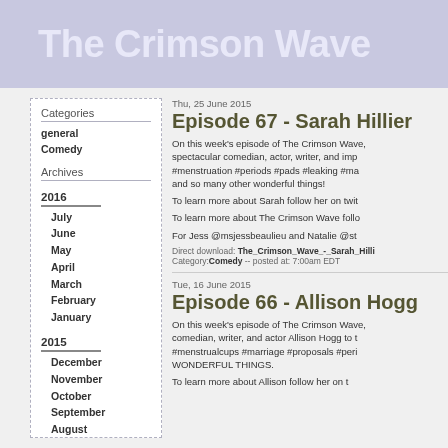The Crimson Wave
Categories
general
Comedy
Archives
2016
July
June
May
April
March
February
January
2015
December
November
October
September
August
Thu, 25 June 2015
Episode 67 - Sarah Hillier
On this week's episode of The Crimson Wave, spectacular comedian, actor, writer, and improv #menstruation #periods #pads #leaking #ma and so many other wonderful things!
To learn more about Sarah follow her on twit
To learn more about The Crimson Wave follo
For Jess @msjessbeaulieu and Natalie @st
Direct download: The_Crimson_Wave_-_Sarah_Hilli Category:Comedy -- posted at: 7:00am EDT
Tue, 16 June 2015
Episode 66 - Allison Hogg
On this week's episode of The Crimson Wave, comedian, writer, and actor Allison Hogg to t #menstrualcups #marriage #proposals #peri WONDERFUL THINGS.
To learn more about Allison follow her on t